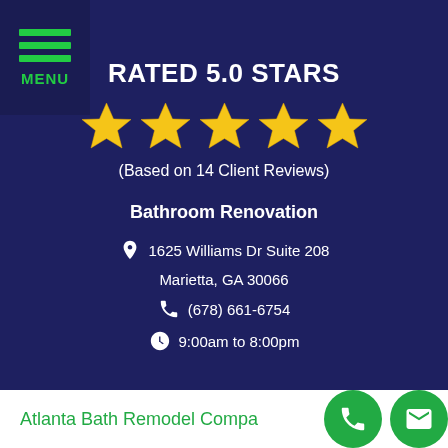[Figure (infographic): Menu button in top-left corner with three green horizontal lines and MENU label]
RATED 5.0 STARS
[Figure (infographic): Five gold/yellow stars rating icons]
(Based on 14 Client Reviews)
Bathroom Renovation
1625 Williams Dr Suite 208
Marietta, GA 30066
(678) 661-6754
9:00am to 8:00pm
Atlanta Bath Remodel Company